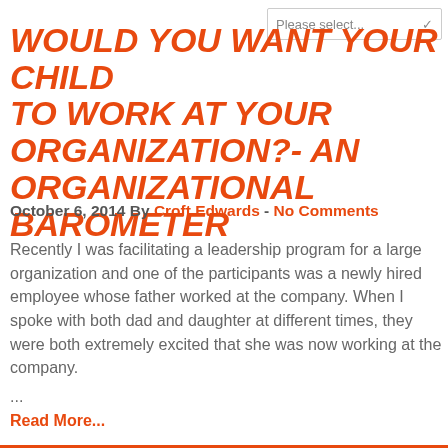Please select...
WOULD YOU WANT YOUR CHILD TO WORK AT YOUR ORGANIZATION?- AN ORGANIZATIONAL BAROMETER
October 6, 2014 By Croft Edwards - No Comments
Recently I was facilitating a leadership program for a large organization and one of the participants was a newly hired employee whose father worked at the company. When I spoke with both dad and daughter at different times, they were both extremely excited that she was now working at the company.
...
Read More...